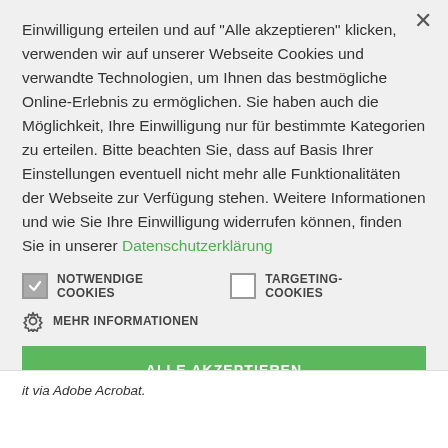Einwilligung erteilen und auf "Alle akzeptieren" klicken, verwenden wir auf unserer Webseite Cookies und verwandte Technologien, um Ihnen das bestmögliche Online-Erlebnis zu ermöglichen. Sie haben auch die Möglichkeit, Ihre Einwilligung nur für bestimmte Kategorien zu erteilen. Bitte beachten Sie, dass auf Basis Ihrer Einstellungen eventuell nicht mehr alle Funktionalitäten der Webseite zur Verfügung stehen. Weitere Informationen und wie Sie Ihre Einwilligung widerrufen können, finden Sie in unserer Datenschutzerklärung
NOTWENDIGE COOKIES   TARGETING-COOKIES
MEHR INFORMATIONEN
ALLE AKZEPTIEREN
it via Adobe Acrobat.